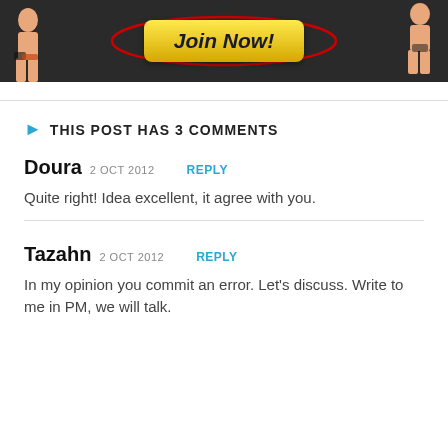[Figure (illustration): Adult content advertisement banner with a yellow 'Join Now!' button centered, outlined with a red oval, against a dark background with illustrated female figures on each side.]
THIS POST HAS 3 COMMENTS
Doura 2 OCT 2012 REPLY
Quite right! Idea excellent, it agree with you.
Tazahn 2 OCT 2012 REPLY
In my opinion you commit an error. Let's discuss. Write to me in PM, we will talk.